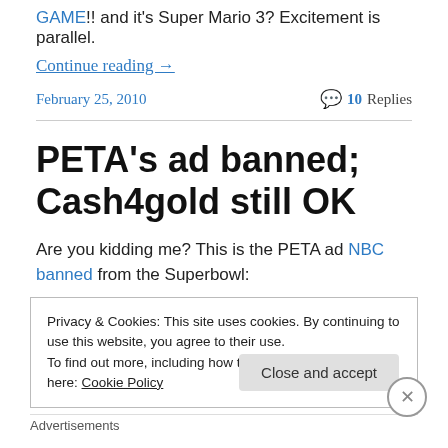GAME!! and it's Super Mario 3? Excitement is parallel.
Continue reading →
February 25, 2010    10 Replies
PETA's ad banned; Cash4gold still OK
Are you kidding me? This is the PETA ad NBC banned from the Superbowl:
Privacy & Cookies: This site uses cookies. By continuing to use this website, you agree to their use. To find out more, including how to control cookies, see here: Cookie Policy
Advertisements